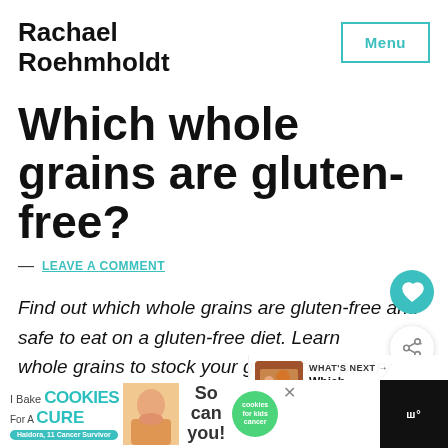Rachael Roehmholdt
Which whole grains are gluten-free?
— LEAVE A COMMENT
Find out which whole grains are gluten-free and safe to eat on a gluten-free diet. Learn whole grains to stock your gluten-free pantry with
[Figure (screenshot): Cookie fundraiser advertisement banner at the bottom of the page reading 'I Bake COOKIES For A CURE' with green cookies logo and 'So can you!' text]
[Figure (screenshot): What's Next overlay showing a thumbnail image with text 'Which Liqueurs are...']